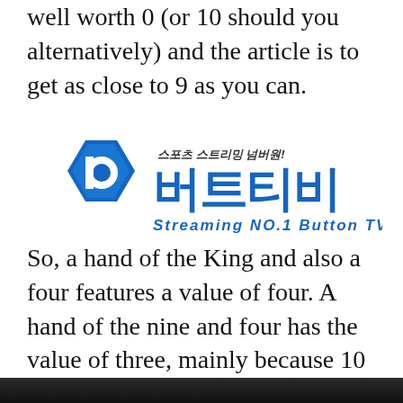well worth 0 (or 10 should you alternatively) and the article is to get as close to 9 as you can.
[Figure (logo): Button TV (버트티비) logo — sports streaming service logo with blue hexagon icon containing letter 'b', Korean text '스포츠 스트리밍 넘버원!' above large Korean characters '버트티비', and italic blue text 'Streaming NO.1 Button TV' below]
So, a hand of the King and also a four features a value of four. A hand of the nine and four has the value of three, mainly because 10 equals zero and the rely restarts.
[Figure (photo): Bottom edge of a photo showing people, partially visible at the bottom of the page]